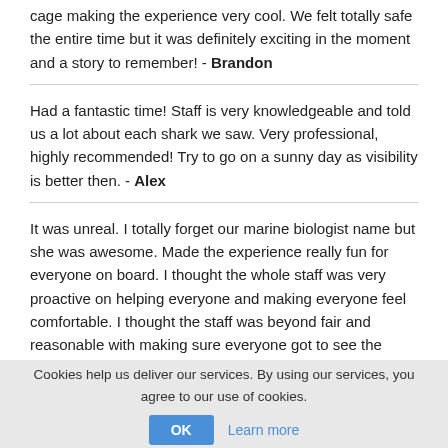cage making the experience very cool. We felt totally safe the entire time but it was definitely exciting in the moment and a story to remember! - Brandon
Had a fantastic time! Staff is very knowledgeable and told us a lot about each shark we saw. Very professional, highly recommended! Try to go on a sunny day as visibility is better then. - Alex
It was unreal. I totally forget our marine biologist name but she was awesome. Made the experience really fun for everyone on board. I thought the whole staff was very proactive on helping everyone and making everyone feel comfortable. I thought the staff was beyond fair and reasonable with making sure everyone got to see the great white sharks. It is not the easiest place to get but very much worth a full day trip - Russell Caso
Cookies help us deliver our services. By using our services, you agree to our use of cookies.